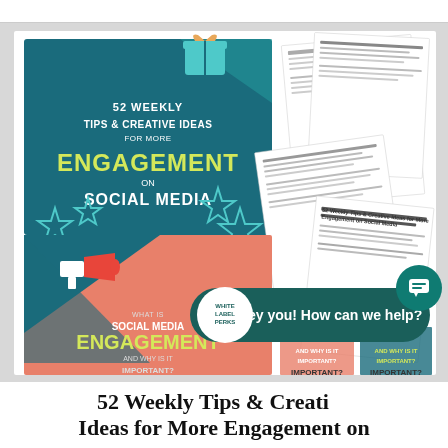[Figure (screenshot): Collage promotional image showing a social media engagement course/product. Top portion: dark teal book cover reading '52 WEEKLY TIPS & CREATIVE IDEAS FOR MORE ENGAGEMENT ON SOCIAL MEDIA' with star decorations, surrounded by scattered white document pages. Bottom portion: coral/teal graphic with megaphone asking 'WHAT IS SOCIAL MEDIA ENGAGEMENT AND WHY IS IT IMPORTANT?'. A dark teal chat bubble overlays with 'WHITE LABEL PERKS' logo and text 'Hey you! How can we help?'. A teal circular chat icon appears bottom right.]
52 Weekly Tips & Creative Ideas for More Engagement on